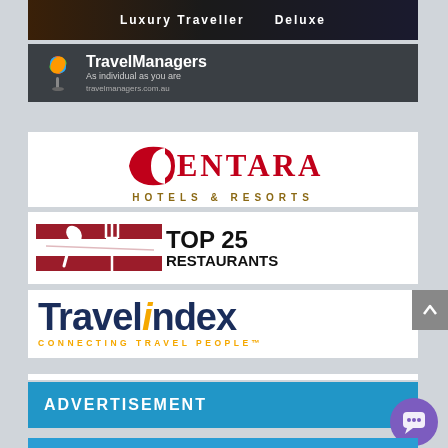[Figure (logo): Partial banner at top showing 'Luxury Traveller' and 'Deluxe' text on dark background]
[Figure (logo): TravelManagers logo with colorful clover icon, tagline 'As individual as you are', URL travelmanagers.com.au on dark background]
[Figure (logo): Centara Hotels & Resorts logo in red with stylized C swash]
[Figure (logo): Top 25 Restaurants logo with crossed spoon and fork icon on red background stripes]
[Figure (logo): Travelindex logo in dark navy with yellow accent, tagline CONNECTING TRAVEL PEOPLE]
ADVERTISEMENT
[Figure (illustration): Chat/support button icon (purple circle with speech bubble) and blue advertisement section at bottom]